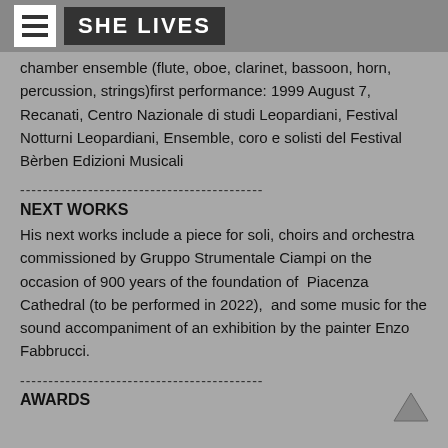SHE LIVES
chamber ensemble (flute, oboe, clarinet, bassoon, horn, percussion, strings)first performance: 1999 August 7, Recanati, Centro Nazionale di studi Leopardiani, Festival Notturni Leopardiani, Ensemble, coro e solisti del Festival Bèrben Edizioni Musicali
-------------------------------------------
NEXT WORKS
His next works include a piece for soli, choirs and orchestra commissioned by Gruppo Strumentale Ciampi on the occasion of 900 years of the foundation of Piacenza Cathedral (to be performed in 2022), and some music for the sound accompaniment of an exhibition by the painter Enzo Fabbrucci.
-------------------------------------------
AWARDS